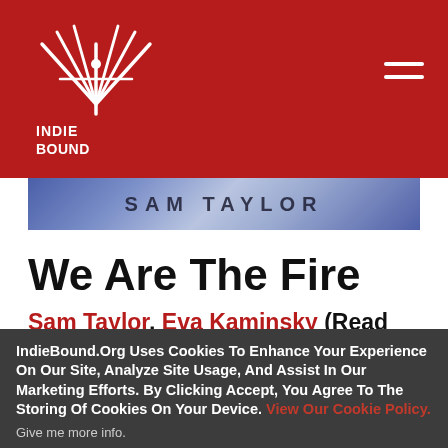IndieBound logo and navigation header
[Figure (screenshot): Book cover banner strip showing 'SAM TAYLOR' text on a blue marbled background]
We Are The Fire
Sam Taylor, Eva Kaminsky (Read by)
Compact Disc
IndieBound.Org Uses Cookies To Enhance Your Experience On Our Site, Analyze Site Usage, And Assist In Our Marketing Efforts. By Clicking Accept, You Agree To The Storing Of Cookies On Your Device. View Our Cookie Policy.
Give me more info.